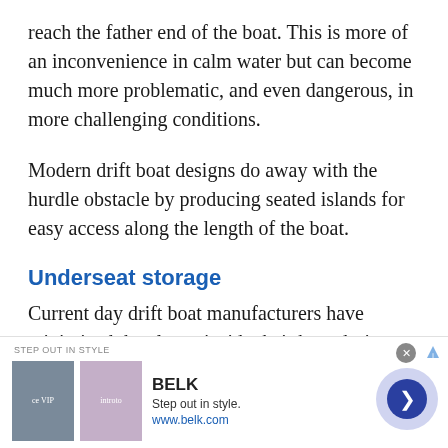reach the father end of the boat. This is more of an inconvenience in calm water but can become much more problematic, and even dangerous, in more challenging conditions.
Modern drift boat designs do away with the hurdle obstacle by producing seated islands for easy access along the length of the boat.
Underseat storage
Current day drift boat manufacturers have minimized the clutter inside their boat designs
[Figure (infographic): Advertisement banner for BELK department store. Shows 'STEP OUT IN STYLE' label, two product images (shoes and clothing), BELK brand name, tagline 'Step out in style.', URL www.belk.com, a close (x) button, an AdChoices arrow icon, and a circular blue navigation arrow button.]